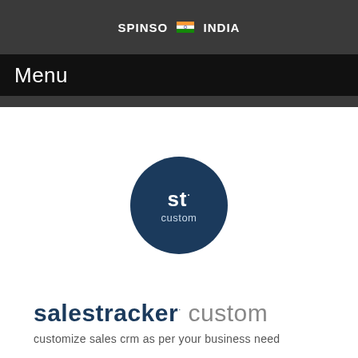SPINSO · INDIA
Menu
[Figure (logo): Dark navy blue circle logo with 'st·' in bold white text and 'custom' below in lighter text]
salestracker· custom
customize sales crm as per your business need